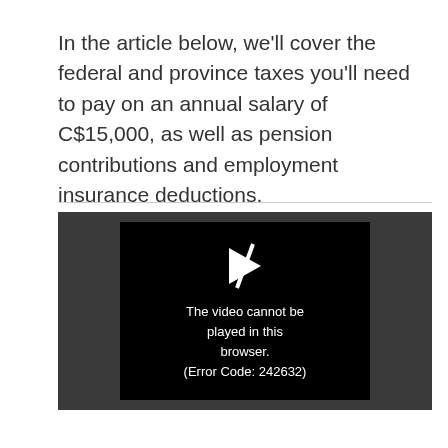In the article below, we'll cover the federal and province taxes you'll need to pay on an annual salary of C$15,000, as well as pension contributions and employment insurance deductions.
[Figure (screenshot): A video player showing an error message: 'The video cannot be played in this browser. (Error Code: 242632)' with a play icon above the text, set against a black inner box within a dark gray outer container.]